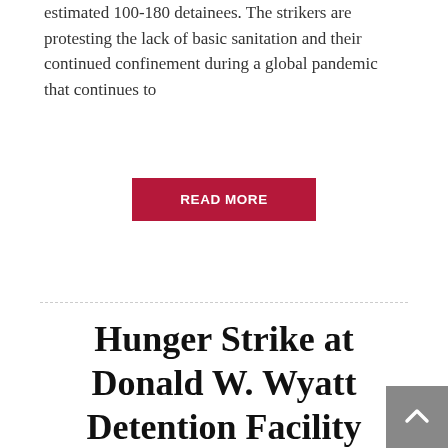estimated 100-180 detainees. The strikers are protesting the lack of basic sanitation and their continued confinement during a global pandemic that continues to
READ MORE
Hunger Strike at Donald W. Wyatt Detention Facility Over COVID–19, Rhode Island